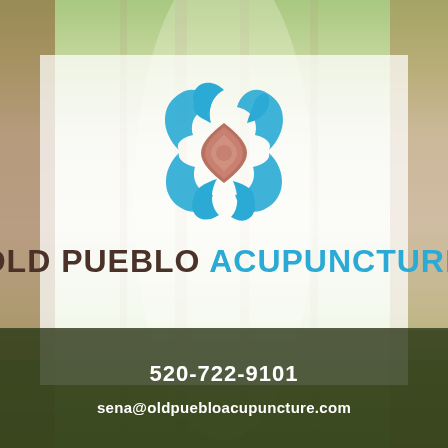[Figure (logo): Old Pueblo Acupuncture logo with blue swoosh design and brown/copper diamond center, with text OLD PUEBLO ACUPUNCTURE]
520-722-9101
sena@oldpuebloacupuncture.com